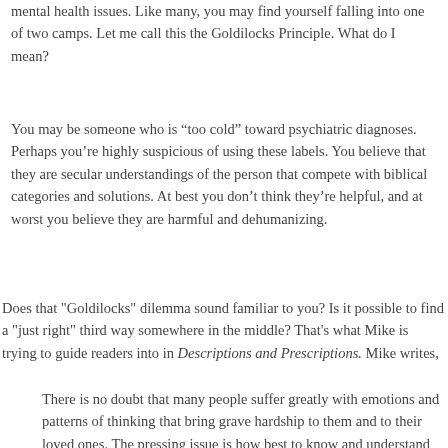mental health issues. Like many, you may find yourself falling into one of two camps. Let me call this the Goldilocks Principle. What do I mean?
You may be someone who is “too cold” toward psychiatric diagnoses. Perhaps you’re highly suspicious of using these labels. You believe that they are secular understandings of the person that compete with biblical categories and solutions. At best you don’t think they’re helpful, and at worst you believe they are harmful and dehumanizing.
Does that "Goldilocks" dilemma sound familiar to you? Is it possible to find a "just right" third way somewhere in the middle? That's what Mike is trying to guide readers into in Descriptions and Prescriptions. Mike writes,
There is no doubt that many people suffer greatly with emotions and patterns of thinking that bring grave hardship to them and to their loved ones. The pressing issue is how best to know and understand their struggles. And then, having